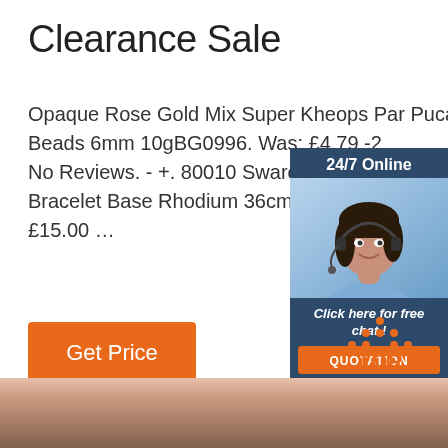Clearance Sale
Opaque Rose Gold Mix Super Kheops Par Puca Beads 6mm 10gBG0996. Was: £4.79 -2 No Reviews. - +. 80010 Swarovski Blac Bracelet Base Rhodium 36cm Pk1. AC1 £15.00 …
[Figure (photo): Customer service representative with headset, chat widget showing '24/7 Online', 'Click here for free chat!' and 'QUOTATION' button]
[Figure (logo): TOP logo with orange dots arranged in triangle above orange text 'TOP']
[Figure (photo): Close-up photo strip at bottom of page showing a person's face/neck]
Get Price